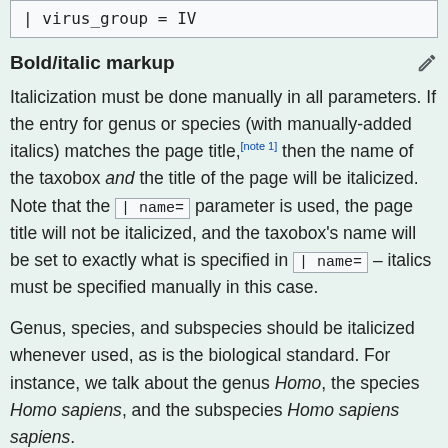| virus_group = IV
Bold/italic markup
Italicization must be done manually in all parameters. If the entry for genus or species (with manually-added italics) matches the page title,[note 1] then the name of the taxobox and the title of the page will be italicized. Note that the | name= parameter is used, the page title will not be italicized, and the taxobox's name will be set to exactly what is specified in | name= – italics must be specified manually in this case.
Genus, species, and subspecies should be italicized whenever used, as is the biological standard. For instance, we talk about the genus Homo, the species Homo sapiens, and the subspecies Homo sapiens sapiens.